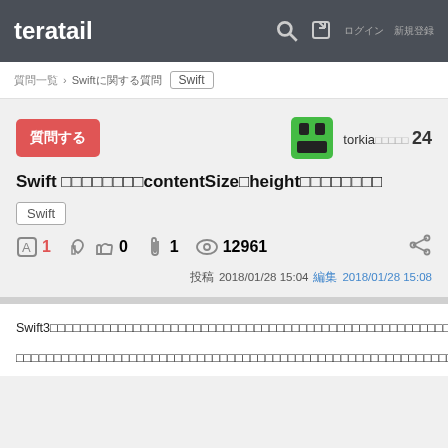teratail
質問一覧 > Swiftに関する質問 Swift
質問する
torkia□□□□□ 24
Swift □□□□□□□□contentSize□height□□□□□□□□
Swift
1  0  1  12961
投稿 2018/01/28 15:04  編集 2018/01/28 15:08
Swift3□□□□□□□□□□□□□□□□□□□□□□□□□□□□□□□□□□□□□□□□□□□□□□□□□□□□□□
□□□□□□□□□□□□□□□□□□□□□□□□□□□□□□□□□□□□□□□□□□□□□□□□□□□□□□□□□□□□□□□□